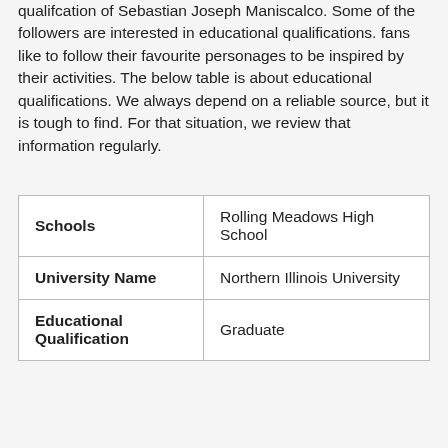qualifcation of Sebastian Joseph Maniscalco. Some of the followers are interested in educational qualifications. fans like to follow their favourite personages to be inspired by their activities. The below table is about educational qualifications. We always depend on a reliable source, but it is tough to find. For that situation, we review that information regularly.
| Schools | Rolling Meadows High School |
| University Name | Northern Illinois University |
| Educational Qualification | Graduate |